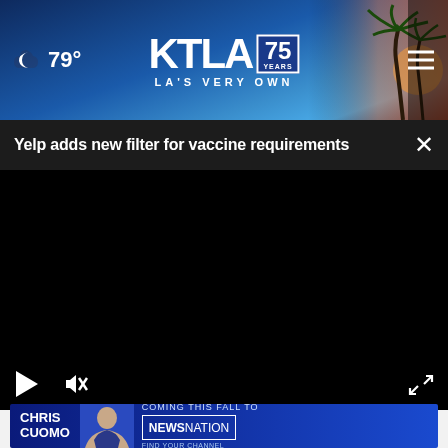🌙 79° | KTLA 75 YEARS | LA'S VERY OWN
Yelp adds new filter for vaccine requirements
[Figure (screenshot): Black video player area with play button, mute button, and expand/fullscreen icon in bottom corners]
AROUND THE WEB
[Figure (infographic): Advertisement banner: Chris Cuomo - Coming This Fall To NewsNation - Find Your Channel]